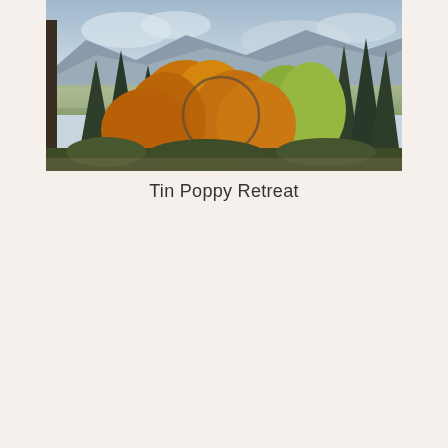[Figure (photo): Autumn landscape photograph showing orange and yellow deciduous trees in the foreground with dark green conifers, and a mountain valley with open fields visible in the background under a partly cloudy sky. A circular decorative element (likely a metal hoop or wreath) is partially visible among the trees.]
Tin Poppy Retreat